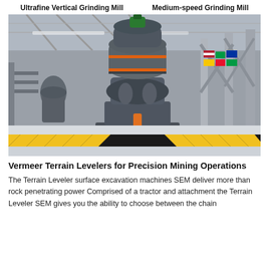Ultrafine Vertical Grinding Mill    Medium-speed Grinding Mill
[Figure (photo): Large industrial vertical grinding mill machine inside a factory/warehouse with flags visible in the background and yellow-black safety markings on the floor.]
Vermeer Terrain Levelers for Precision Mining Operations
The Terrain Leveler surface excavation machines SEM deliver more than rock penetrating power Comprised of a tractor and attachment the Terrain Leveler SEM gives you the ability to choose between the chain